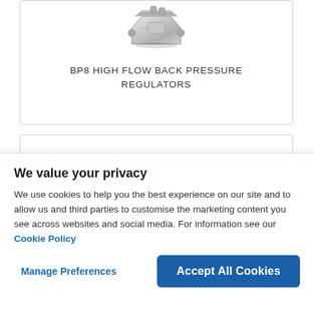[Figure (photo): Photo of BP8 High Flow Back Pressure Regulator hardware component, a metallic machined block with ports]
BP8 HIGH FLOW BACK PRESSURE REGULATORS
We value your privacy
We use cookies to help you the best experience on our site and to allow us and third parties to customise the marketing content you see across websites and social media. For information see our Cookie Policy
Manage Preferences
Accept All Cookies